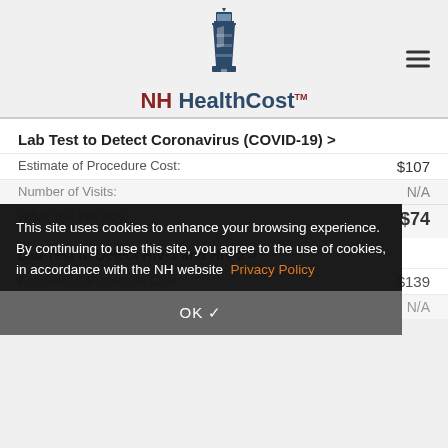NH HealthCost
Lab Test to Detect Coronavirus (COVID-19) >
Estimate of Procedure Cost: $107
Number of Visits: N/A
What You Will Pay: $74
This site uses cookies to enhance your browsing experience. By continuing to use this site, you agree to the use of cookies, in accordance with the NH website Privacy Policy
OK ✓
Lab Test to Detect HIV-1 and HIV-2 >
Estimate of Procedure Cost: $139
Number of Visits: N/A